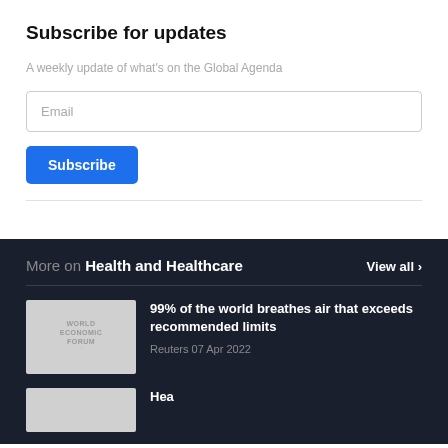Subscribe for updates
A weekly update of what's on the Global Agenda
Email
Subscribe
More on Health and Healthcare
View all
99% of the world breathes air that exceeds recommended limits
Reuters 07 Apr 2022
[Figure (logo): World Economic Forum logo placeholder thumbnail]
[Figure (photo): Partial thumbnail for second article]